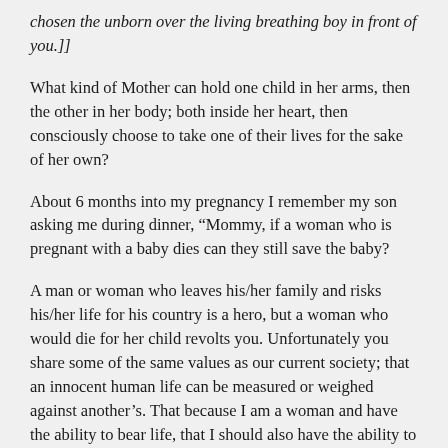chosen the unborn over the living breathing boy in front of you.]]
What kind of Mother can hold one child in her arms, then the other in her body; both inside her heart, then consciously choose to take one of their lives for the sake of her own?
About 6 months into my pregnancy I remember my son asking me during dinner, “Mommy, if a woman who is pregnant with a baby dies can they still save the baby?
A man or woman who leaves his/her family and risks his/her life for his country is a hero, but a woman who would die for her child revolts you. Unfortunately you share some of the same values as our current society; that an innocent human life can be measured or weighed against another’s. That because I am a woman and have the ability to bear life, that I should also have the ability to take that life away.